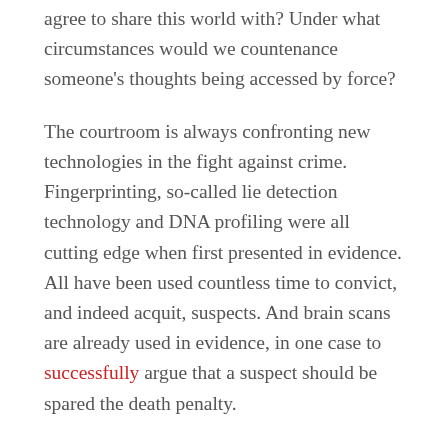agree to share this world with? Under what circumstances would we countenance someone's thoughts being accessed by force?
The courtroom is always confronting new technologies in the fight against crime. Fingerprinting, so-called lie detection technology and DNA profiling were all cutting edge when first presented in evidence. All have been used countless time to convict, and indeed acquit, suspects. And brain scans are already used in evidence, in one case to successfully argue that a suspect should be spared the death penalty.